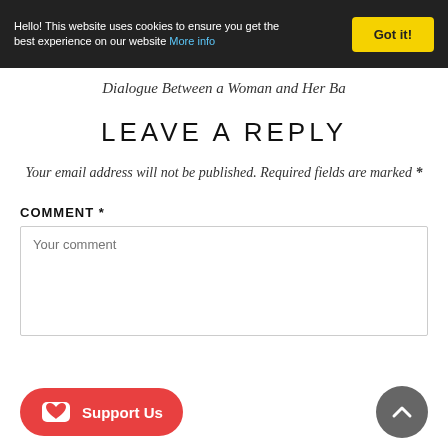Hello! This website uses cookies to ensure you get the best experience on our website More info
Got it!
Dialogue Between a Woman and Her Ba
LEAVE A REPLY
Your email address will not be published. Required fields are marked *
COMMENT *
Your comment
Support Us